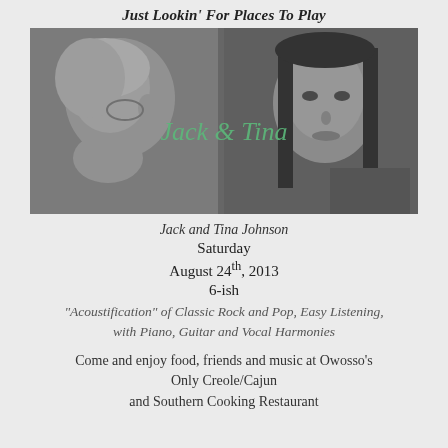Just Lookin' For Places To Play
[Figure (photo): Black and white photo of two people: an older man on the left in profile, and a woman on the right facing forward, with script text 'Jack & Tina' overlaid in green]
Jack and Tina Johnson
Saturday
August 24th, 2013
6-ish
"Acoustification" of Classic Rock and Pop, Easy Listening, with Piano, Guitar and Vocal Harmonies
Come and enjoy food, friends and music at Owosso's Only Creole/Cajun and Southern Cooking Restaurant